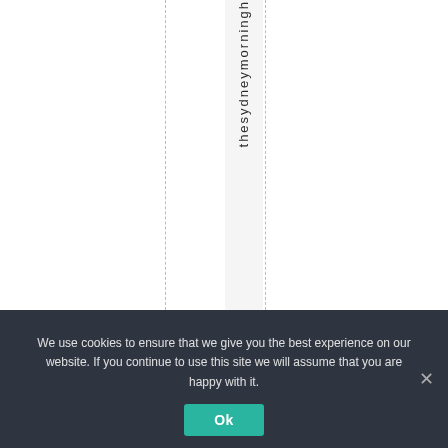thesydneymorningh
We use cookies to ensure that we give you the best experience on our website. If you continue to use this site we will assume that you are happy with it.